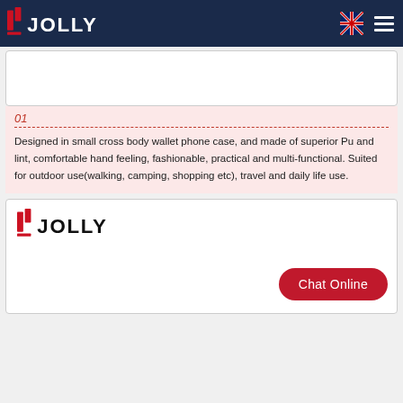JOLLY
[Figure (illustration): White card placeholder area at top]
01
Designed in small cross body wallet phone case, and made of superior Pu and lint, comfortable hand feeling, fashionable, practical and multi-functional. Suited for outdoor use(walking, camping, shopping etc), travel and daily life use.
[Figure (logo): Jolly logo inside white card with Chat Online button]
Chat Online